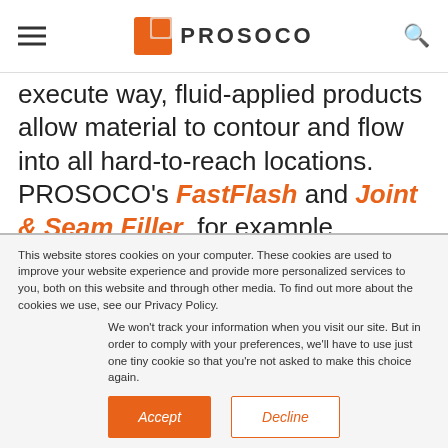PROSOCO (logo with hamburger menu and search icon)
execute way, fluid-applied products allow material to contour and flow into all hard-to-reach locations. PROSOCO's FastFlash and Joint & Seam Filler, for example, connect rough openings, panel joints, and fastener penetrations. This is the first step toward
This website stores cookies on your computer. These cookies are used to improve your website experience and provide more personalized services to you, both on this website and through other media. To find out more about the cookies we use, see our Privacy Policy.
We won't track your information when you visit our site. But in order to comply with your preferences, we'll have to use just one tiny cookie so that you're not asked to make this choice again.